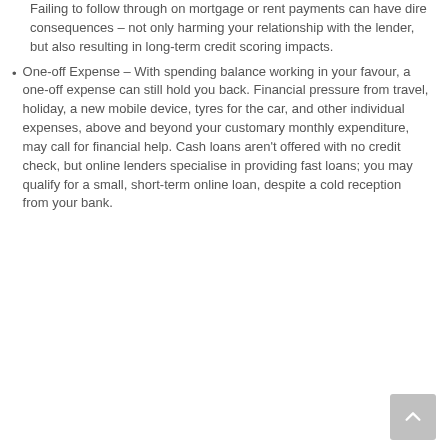Failing to follow through on mortgage or rent payments can have dire consequences – not only harming your relationship with the lender, but also resulting in long-term credit scoring impacts.
One-off Expense – With spending balance working in your favour, a one-off expense can still hold you back. Financial pressure from travel, holiday, a new mobile device, tyres for the car, and other individual expenses, above and beyond your customary monthly expenditure, may call for financial help. Cash loans aren't offered with no credit check, but online lenders specialise in providing fast loans; you may qualify for a small, short-term online loan, despite a cold reception from your bank.